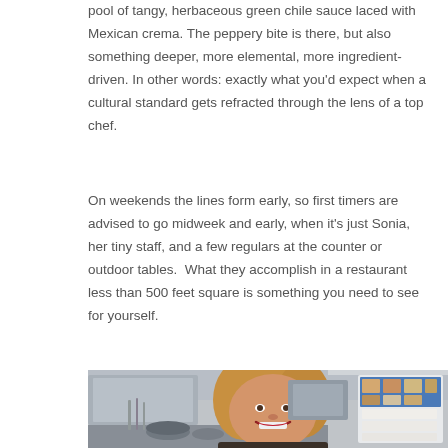pool of tangy, herbaceous green chile sauce laced with Mexican crema. The peppery bite is there, but also something deeper, more elemental, more ingredient-driven. In other words: exactly what you'd expect when a cultural standard gets refracted through the lens of a top chef.
On weekends the lines form early, so first timers are advised to go midweek and early, when it's just Sonia, her tiny staff, and a few regulars at the counter or outdoor tables.  What they accomplish in a restaurant less than 500 feet square is something you need to see for yourself.
[Figure (photo): Photo of a smiling blonde woman in a restaurant kitchen, with stainless steel equipment, pots and utensils visible, and a menu board with food photos on the right side.]